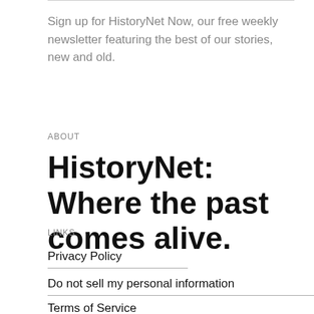Sign up for HistoryNet Now, our free weekly newsletter featuring the best of our stories, new and old.
ABOUT
HistoryNet: Where the past comes alive.
LINKS
Privacy Policy
Do not sell my personal information
Terms of Service